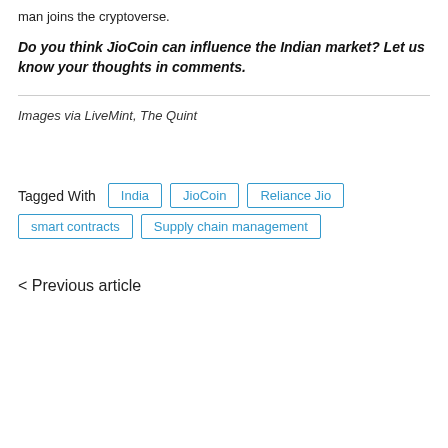man joins the cryptoverse.
Do you think JioCoin can influence the Indian market? Let us know your thoughts in comments.
Images via LiveMint, The Quint
Tagged With  India  JioCoin  Reliance Jio  smart contracts  Supply chain management
< Previous article